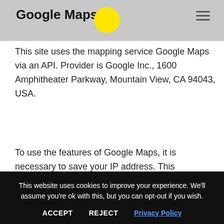Google Maps
This site uses the mapping service Google Maps via an API. Provider is Google Inc., 1600 Amphitheater Parkway, Mountain View, CA 94043, USA.
To use the features of Google Maps, it is necessary to save your IP address. This information is usually transmitted to and stored on a Google server in the United
This website uses cookies to improve your experience. We'll assume you're ok with this, but you can opt-out if you wish.
ACCEPT   REJECT   Privacy Policy